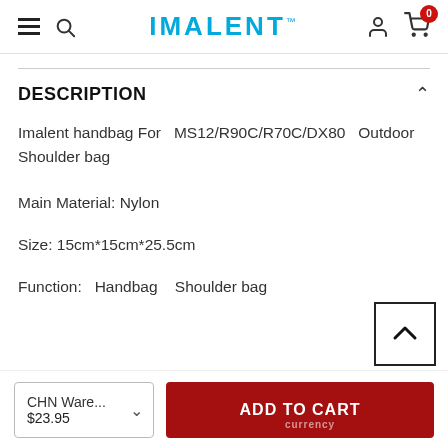IMALENT
DESCRIPTION
Imalent handbag For  MS12/R90C/R70C/DX80  Outdoor Shoulder bag
Main Material: Nylon
Size: 15cm*15cm*25.5cm
Function:  Handbag   Shoulder bag
CHN Ware...
$23.95
ADD TO CART